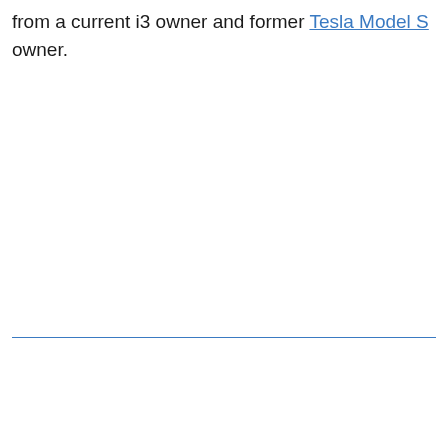from a current i3 owner and former Tesla Model S owner.